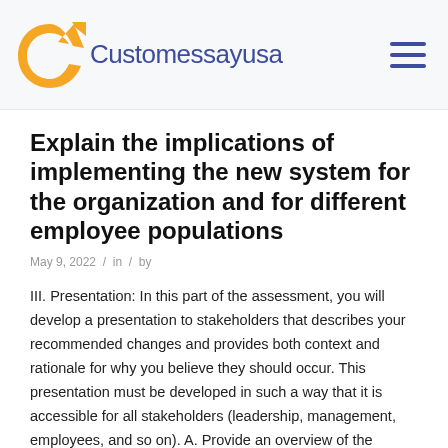Customessayusa
Explain the implications of implementing the new system for the organization and for different employee populations
May 9, 2022 / in / by
III. Presentation: In this part of the assessment, you will develop a presentation to stakeholders that describes your recommended changes and provides both context and rationale for why you believe they should occur. This presentation must be developed in such a way that it is accessible for all stakeholders (leadership, management, employees, and so on). A. Provide an overview of the qualitative input data, quantitative benchmarking data, and the